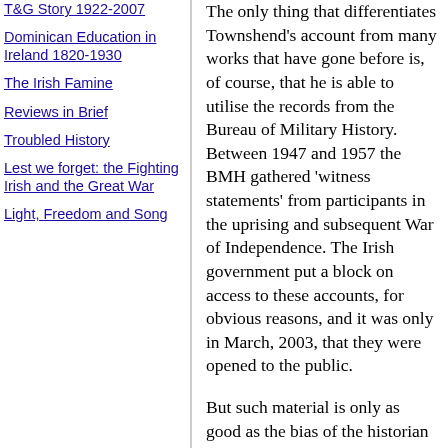T&G Story 1922-2007
Dominican Education in Ireland 1820-1930
The Irish Famine
Reviews in Brief
Troubled History
Lest we forget: the Fighting Irish and the Great War
Light, Freedom and Song
The only thing that differentiates Townshend's account from many works that have gone before is, of course, that he is able to utilise the records from the Bureau of Military History. Between 1947 and 1957 the BMH gathered 'witness statements' from participants in the uprising and subsequent War of Independence. The Irish government put a block on access to these accounts, for obvious reasons, and it was only in March, 2003, that they were opened to the public.
But such material is only as good as the bias of the historian using it. I feel that access to these personal accounts was an opportunity missed.
Because of the source references, I cannot of course disagree with the notion that this is an important contribution. But only in its use as a tool for other historians looking for a short cut to references. There is no way I can agree that it is "the most full and objective account of the Irish Rebellion (sic) so far".
The subject of 1916 still awaits an historian